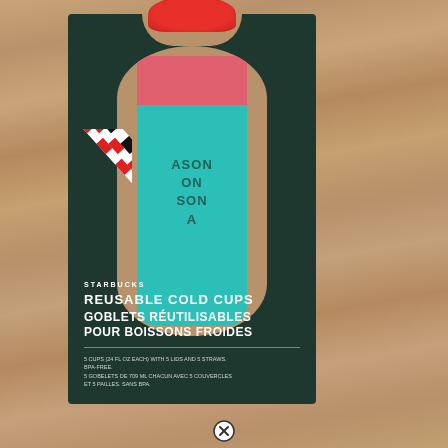[Figure (photo): Product photo of Starbucks Reusable Cold Cups set in dark green packaging box on a wooden surface. The box shows a teal cup with red lid through a large oval viewing window. Striped candy-cane straws are visible on the left side of the box. The bottom of the box displays branding and product name in English and French. A circled X icon appears at the very bottom center of the image.]